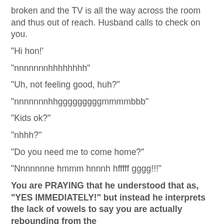broken and the TV is all the way across the room and thus out of reach. Husband calls to check on you.
"Hi hon!'
"nnnnnnnhhhhhhhh"
"Uh, not feeling good, huh?"
"nnnnnnnhhgggggggggmmmmbbb"
"Kids ok?"
"nhhh?"
"Do you need me to come home?"
"Nnnnnnne hmmm hnnnh hfffff gggg!!!"
You are PRAYING that he understood that as, "YES IMMEDIATELY!" but instead he interprets the lack of vowels to say you are actually rebounding from the